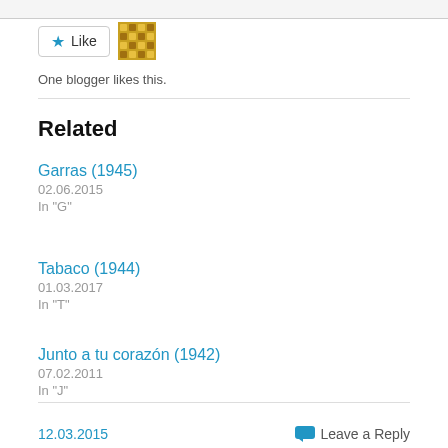[Figure (other): Like button with blue star icon and a mosaic/avatar thumbnail next to it]
One blogger likes this.
Related
Garras (1945)
02.06.2015
In "G"
Tabaco (1944)
01.03.2017
In "T"
Junto a tu corazón (1942)
07.02.2011
In "J"
12.03.2015   Leave a Reply